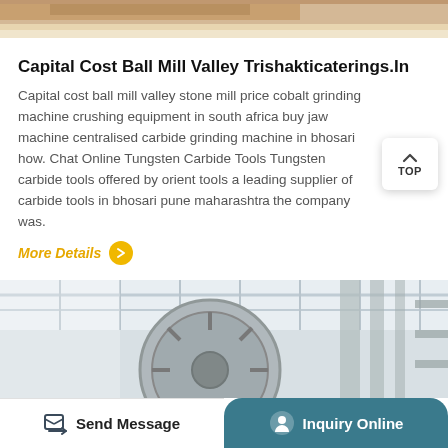[Figure (photo): Top partial image showing an industrial/construction scene with warm sandy tones]
Capital Cost Ball Mill Valley Trishakticaterings.In
Capital cost ball mill valley stone mill price cobalt grinding machine crushing equipment in south africa buy jaw machine centralised carbide grinding machine in bhosari how. Chat Online Tungsten Carbide Tools Tungsten carbide tools offered by orient tools a leading supplier of carbide tools in bhosari pune maharashtra the company was.
More Details
[Figure (photo): Industrial machinery photo showing large circular mechanical components, gears or mill equipment in a factory setting with steel girder roof structure]
Send Message   Inquiry Online